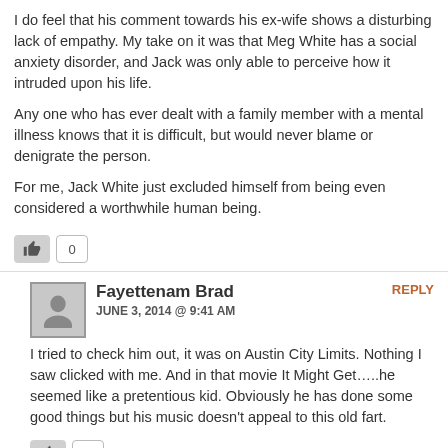I do feel that his comment towards his ex-wife shows a disturbing lack of empathy. My take on it was that Meg White has a social anxiety disorder, and Jack was only able to perceive how it intruded upon his life.
Any one who has ever dealt with a family member with a mental illness knows that it is difficult, but would never blame or denigrate the person.
For me, Jack White just excluded himself from being even considered a worthwhile human being.
Fayettenam Brad
JUNE 3, 2014 @ 9:41 AM
REPLY
I tried to check him out, it was on Austin City Limits. Nothing I saw clicked with me. And in that movie It Might Get…..he seemed like a pretentious kid. Obviously he has done some good things but his music doesn't appeal to this old fart.